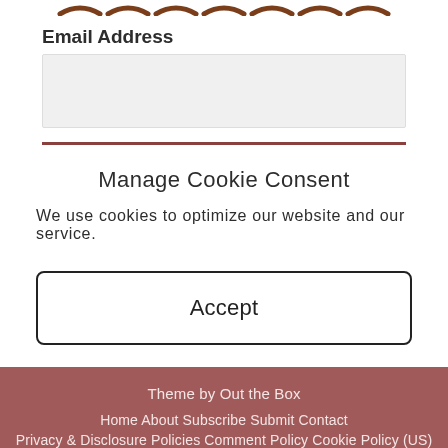[Figure (illustration): Dashed/dotted decorative border pattern in brown at top of page]
Email Address
[Figure (illustration): Email address input text box (empty, light gray background)]
Manage Cookie Consent
We use cookies to optimize our website and our service.
Accept
Theme by Out the Box
Home About Subscribe Submit Contact
Privacy & Disclosure Policies Comment Policy Cookie Policy (US)